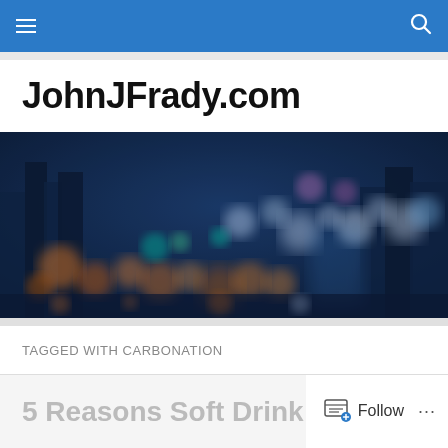Navigation bar with hamburger menu and search icon
JohnJFrady.com
[Figure (photo): Blurred bokeh cityscape at night with colorful out-of-focus lights against a dark blue sky]
TAGGED WITH CARBONATION
5 Reasons Soft Drink…